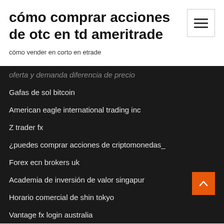cómo comprar acciones de otc en td ameritrade
cómo vender en corto en etrade
oferta y demanda diferencia de precio
Gafas de sol bitcoin
American eagle international trading inc
Z trader fx
¿puedes comprar acciones de criptomonedas_
Forex ecn brokers uk
Academia de inversión de valor singapur
Horario comercial de shin tokyo
Vantage fx login australia